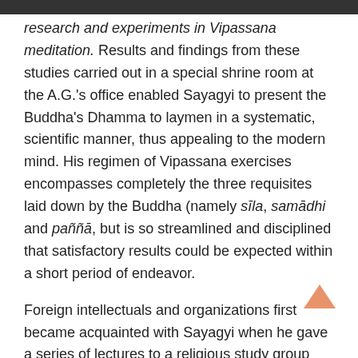research and experiments in Vipassana meditation. Results and findings from these studies carried out in a special shrine room at the A.G.'s office enabled Sayagyi to present the Buddha's Dhamma to laymen in a systematic, scientific manner, thus appealing to the modern mind. His regimen of Vipassana exercises encompasses completely the three requisites laid down by the Buddha (namely sīla, samādhi and paññā, but is so streamlined and disciplined that satisfactory results could be expected within a short period of endeavor.
Foreign intellectuals and organizations first became acquainted with Sayagyi when he gave a series of lectures to a religious study group composed of members of a special technical and economic mission from America, in 1952. The lectures, rendered in booklet form, soon found their way to various Burmese embassies abroad and Buddhist organisations the world over.
Sayagyi made a few more expositions of the life and